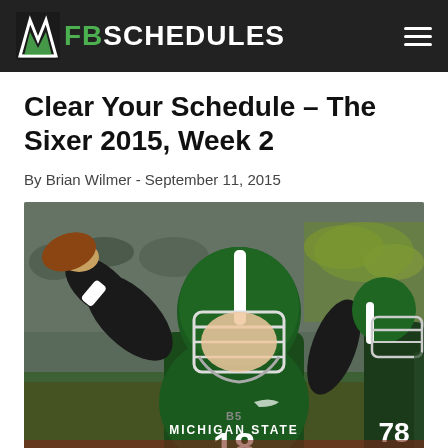FBSchedules
Clear Your Schedule – The Sixer 2015, Week 2
By Brian Wilmer - September 11, 2015
[Figure (photo): Michigan State Spartans quarterback #18 in green uniform and helmet throwing a football]